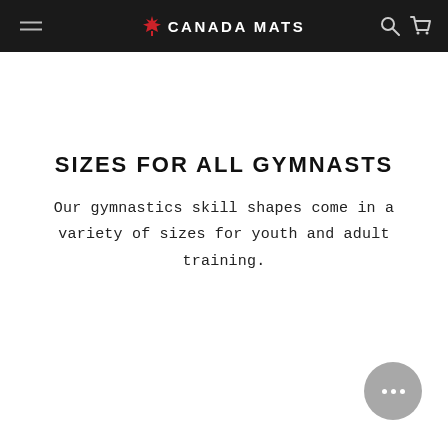CANADA MATS
SIZES FOR ALL GYMNASTS
Our gymnastics skill shapes come in a variety of sizes for youth and adult training.